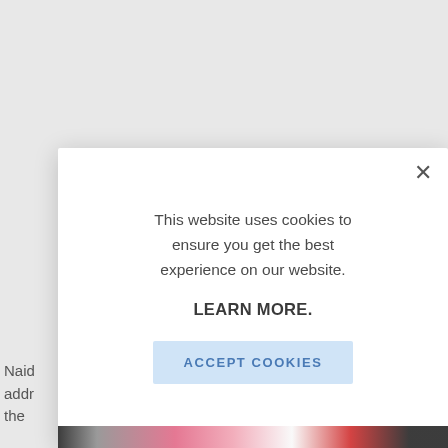[Figure (screenshot): Screenshot of a website with a cookie consent modal dialog overlaying a partially visible webpage. The background shows a light grey webpage with partial text 'Naid', 'addr', 'the' visible on the lower left. The modal is a white popup with an X close button, cookie notice text, a LEARN MORE link, and an ACCEPT COOKIES button.]
This website uses cookies to ensure you get the best experience on our website.
LEARN MORE.
ACCEPT COOKIES